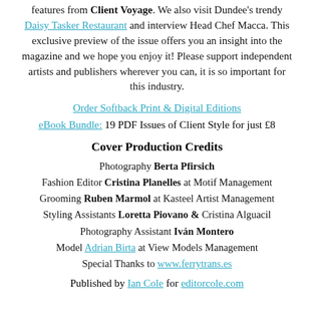features from Client Voyage. We also visit Dundee's trendy Daisy Tasker Restaurant and interview Head Chef Macca. This exclusive preview of the issue offers you an insight into the magazine and we hope you enjoy it! Please support independent artists and publishers wherever you can, it is so important for this industry.
Order Softback Print & Digital Editions
eBook Bundle: 19 PDF Issues of Client Style for just £8
Cover Production Credits
Photography Berta Pfirsich
Fashion Editor Cristina Planelles at Motif Management
Grooming Ruben Marmol at Kasteel Artist Management
Styling Assistants Loretta Piovano & Cristina Alguacil
Photography Assistant Iván Montero
Model Adrian Birta at View Models Management
Special Thanks to www.ferrytrans.es
Published by Ian Cole for editorcole.com